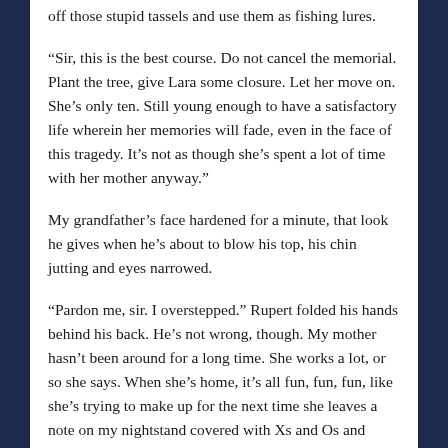off those stupid tassels and use them as fishing lures.
“Sir, this is the best course. Do not cancel the memorial. Plant the tree, give Lara some closure. Let her move on. She’s only ten. Still young enough to have a satisfactory life wherein her memories will fade, even in the face of this tragedy. It’s not as though she’s spent a lot of time with her mother anyway.”
My grandfather’s face hardened for a minute, that look he gives when he’s about to blow his top, his chin jutting and eyes narrowed.
“Pardon me, sir. I overstepped.” Rupert folded his hands behind his back. He’s not wrong, though. My mother hasn’t been around for a long time. She works a lot, or so she says. When she’s home, it’s all fun, fun, fun, like she’s trying to make up for the next time she leaves a note on my nightstand covered with Xs and Os and smiley faces and promises of trips to zoos and museums and amusement parks and my favorite ice cream shop when she gets home.